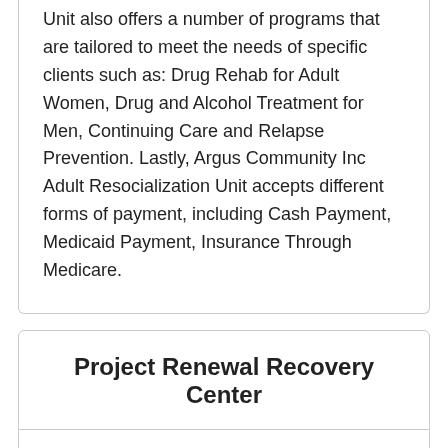Unit also offers a number of programs that are tailored to meet the needs of specific clients such as: Drug Rehab for Adult Women, Drug and Alcohol Treatment for Men, Continuing Care and Relapse Prevention. Lastly, Argus Community Inc Adult Resocialization Unit accepts different forms of payment, including Cash Payment, Medicaid Payment, Insurance Through Medicare.
Project Renewal Recovery Center
Project Renewal Recovery Center is an